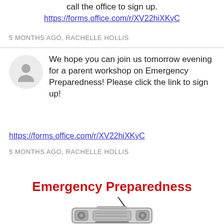call the office to sign up.
https://forms.office.com/r/XV22hiXKyC
5 MONTHS AGO, RACHELLE HOLLIS
We hope you can join us tomorrow evening for a parent workshop on Emergency Preparedness! Please click the link to sign up!
https://forms.office.com/r/XV22hiXKyC
5 MONTHS AGO, RACHELLE HOLLIS
Emergency Preparedness
[Figure (illustration): Illustration of a boombox/radio]